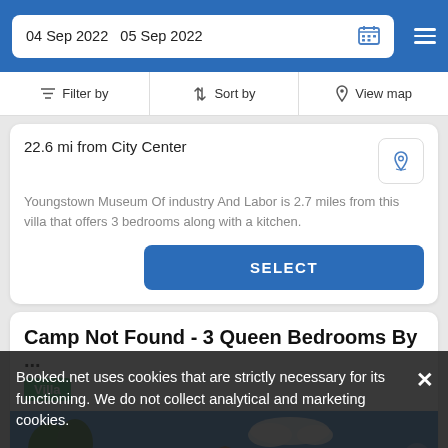04 Sep 2022   05 Sep 2022
Filter by   Sort by   View map
22.6 mi from City Center
Youngstown Museum Of industry And Labor is 2.7 miles from this villa that offers 3 bedrooms along with a kitchen.
SELECT
Camp Not Found - 3 Queen Bedrooms By ...
Villa
[Figure (photo): Exterior photo of a property with trees and blue sky]
Booked.net uses cookies that are strictly necessary for its functioning. We do not collect analytical and marketing cookies.